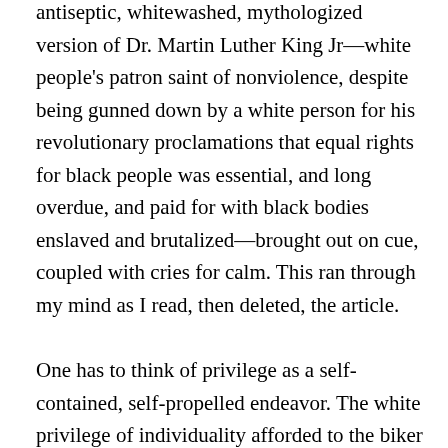antiseptic, whitewashed, mythologized version of Dr. Martin Luther King Jr—white people's patron saint of nonviolence, despite being gunned down by a white person for his revolutionary proclamations that equal rights for black people was essential, and long overdue, and paid for with black bodies enslaved and brutalized—brought out on cue, coupled with cries for calm. This ran through my mind as I read, then deleted, the article.

One has to think of privilege as a self-contained, self-propelled endeavor. The white privilege of individuality afforded to the biker gangs—thugs—and their murderous shootout as an isolated incident, as a singular event or, perhaps, even one of many events confined to the gangs themselves, as opposed to the